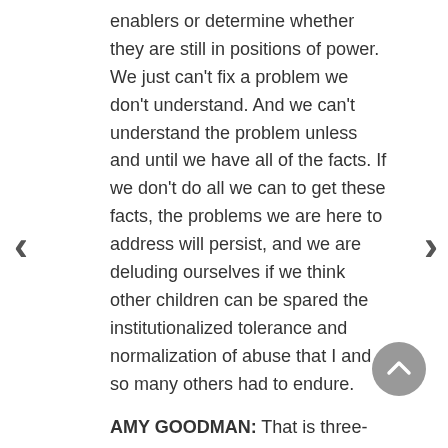enablers or determine whether they are still in positions of power. We just can't fix a problem we don't understand. And we can't understand the problem unless and until we have all of the facts. If we don't do all we can to get these facts, the problems we are here to address will persist, and we are deluding ourselves if we think other children can be spared the institutionalized tolerance and normalization of abuse that I and so many others had to endure.
AMY GOODMAN: That is three-time Olympic gold medal gymnast, two-time Olympic team captain, Aly Raisman, who has really been the forceful leader of this movement to bring Nassar down, but not only him, because, as Simone Biles says, the whole system is broken.
But, interestingly, the attorney general, Merrick Garland did not appear, though the head of the